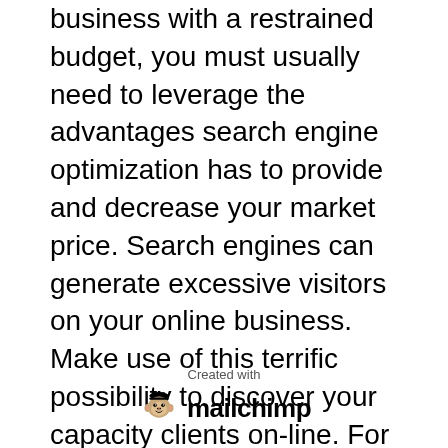business with a restrained budget, you must usually need to leverage the advantages search engine optimization has to provide and decrease your market price. Search engines can generate excessive visitors on your online business. Make use of this terrific possibility to discover your capacity clients on-line. For more details visit WebAllWays.
[Figure (logo): Created with Mailchimp logo — monkey icon followed by the word 'mailchimp' in bold]